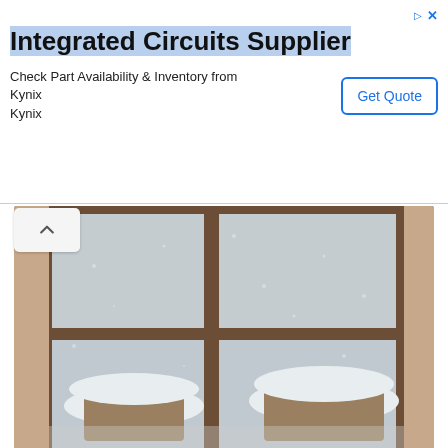Integrated Circuits Supplier — Check Part Availability & Inventory from Kynix Kynix — Get Quote
[Figure (photo): Interior view from a cozy living room looking out through large multi-paned windows at a snowy outdoor scene. Two snow-covered wicker chairs sit on a deck. Inside, two upholstered armchairs are visible in the foreground on either side, along with a Tiffany-style lamp. White curtains frame the window.]
I bought myself a little lap desk so I could move from the kitchen counter (where I was for the first 6 months of working from home) to anywhere in the house. I settle myself on the sofa in the living room, closer to the fire for these blustery days. I can see out the living room window, to my bird feeders and the gently falling snow. There's a cup on each side of me, and every now and again